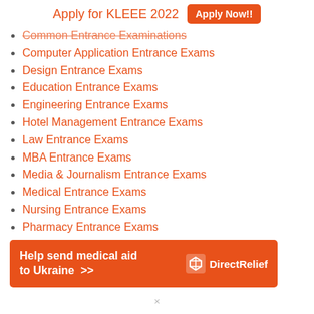Apply for KLEEE 2022  Apply Now!!
Common Entrance Examinations
Computer Application Entrance Exams
Design Entrance Exams
Education Entrance Exams
Engineering Entrance Exams
Hotel Management Entrance Exams
Law Entrance Exams
MBA Entrance Exams
Media & Journalism Entrance Exams
Medical Entrance Exams
Nursing Entrance Exams
Pharmacy Entrance Exams
Science Entrance Exams
Diploma & Polytechnic
Lateral Entry
[Figure (infographic): Orange advertisement banner: Help send medical aid to Ukraine >> with Direct Relief logo]